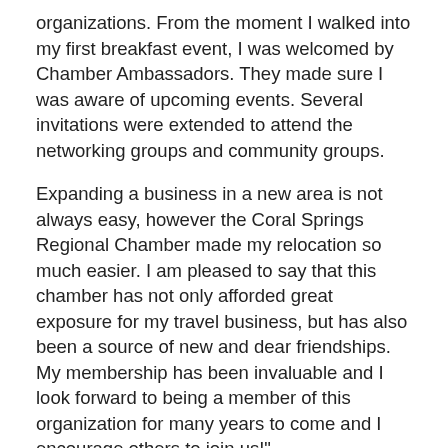organizations. From the moment I walked into my first breakfast event, I was welcomed by Chamber Ambassadors. They made sure I was aware of upcoming events. Several invitations were extended to attend the networking groups and community groups.
Expanding a business in a new area is not always easy, however the Coral Springs Regional Chamber made my relocation so much easier. I am pleased to say that this chamber has not only afforded great exposure for my travel business, but has also been a source of new and dear friendships. My membership has been invaluable and I look forward to being a member of this organization for many years to come and I encourage others to join us!"
Adrienne Sasson, The Travel Specialist at Rubinsohn Travel